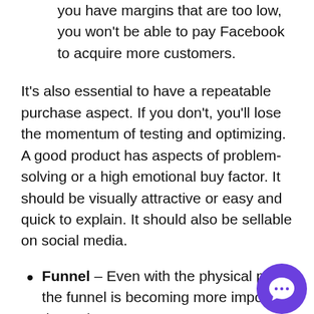you have margins that are too low, you won't be able to pay Facebook to acquire more customers.
It's also essential to have a repeatable purchase aspect. If you don't, you'll lose the momentum of testing and optimizing. A good product has aspects of problem-solving or a high emotional buy factor. It should be visually attractive or easy and quick to explain. It should also be sellable on social media.
Funnel – Even with the physical pro…, the funnel is becoming more importa… these days.